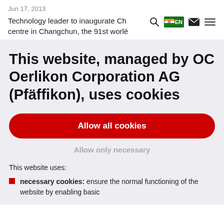Jun 17, 2013
Technology leader to inaugurate Ch centre in Changchun, the 91st worlé
This website, managed by OC Oerlikon Corporation AG (Pfäffikon), uses cookies
Allow all cookies
Allow only necessary
This website uses:
necessary cookies: ensure the normal functioning of the website by enabling basic